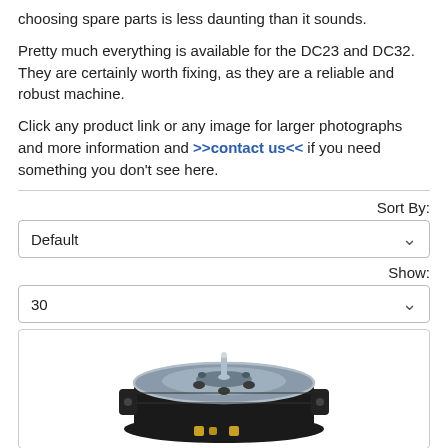choosing spare parts is less daunting than it sounds.
Pretty much everything is available for the DC23 and DC32. They are certainly worth fixing, as they are a reliable and robust machine.
Click any product link or any image for larger photographs and more information and >>contact us<< if you need something you don't see here.
Sort By:
Default
Show:
30
[Figure (photo): A vacuum cleaner motor component (cylindrical metallic motor with spindle and ventilation holes, black housing with yellow wiring), shown from above at an angle inside a bordered product listing box.]